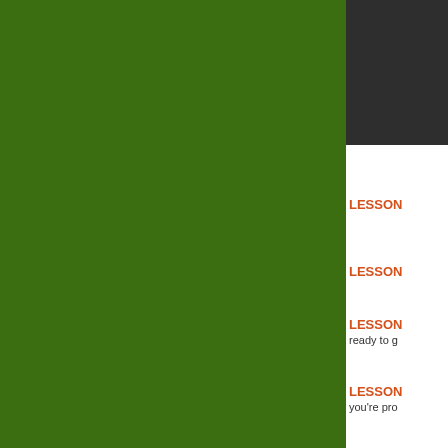[Figure (photo): Large green panel covering left two-thirds of the page]
[Figure (other): Dark/black square box in upper right area]
LESSON
LESSON
LESSON
ready to g
LESSON
you're pro
LESSON
LESSON
side.